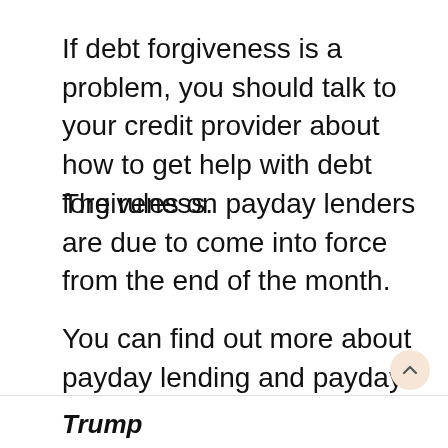If debt forgiveness is a problem, you should talk to your credit provider about how to get help with debt forgiveness.
The rules on payday lenders are due to come into force from the end of the month.
You can find out more about payday lending and payday loans in the Bank Of England's website.
Trump